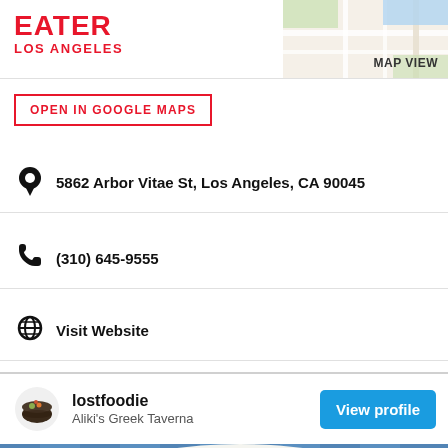EATER LOS ANGELES
[Figure (map): Small map thumbnail in top right corner with MAP VIEW label]
OPEN IN GOOGLE MAPS
5862 Arbor Vitae St, Los Angeles, CA 90045
(310) 645-9555
Visit Website
lostfoodie
Aliki's Greek Taverna
[Figure (photo): Food photo showing Greek dishes on plates with blue checkered tablecloth — grilled meat with lemon and vegetables]